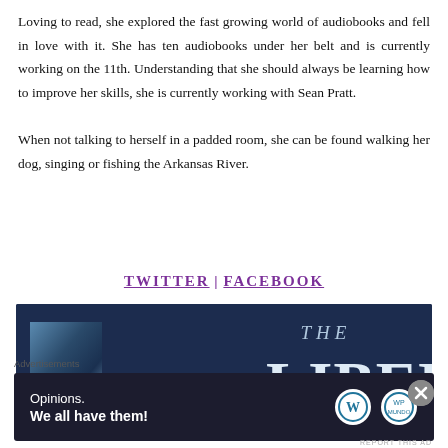Loving to read, she explored the fast growing world of audiobooks and fell in love with it. She has ten audiobooks under her belt and is currently working on the 11th. Understanding that she should always be learning how to improve her skills, she is currently working with Sean Pratt.

When not talking to herself in a padded room, she can be found walking her dog, singing or fishing the Arkansas River.
TWITTER | FACEBOOK
[Figure (other): Book banner showing 'THE LIBERTY' text on a dark navy background with a book cover image on the left]
Advertisements
[Figure (other): Advertisement banner with dark background showing 'Opinions. We all have them!' with WordPress and WP Mundo logos]